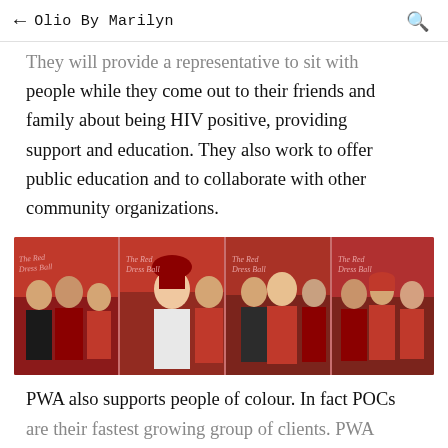← Olio By Marilyn 🔍
They will provide a representative to sit with people while they come out to their friends and family about being HIV positive, providing support and education. They also work to offer public education and to collaborate with other community organizations.
[Figure (photo): A strip of four photos showing groups of people at The Red Dress Ball event, most wearing red clothing, posing in front of a step-and-repeat banner with 'The Red Dress Ball' branding.]
PWA also supports people of colour. In fact POCs are their fastest growing group of clients. PWA